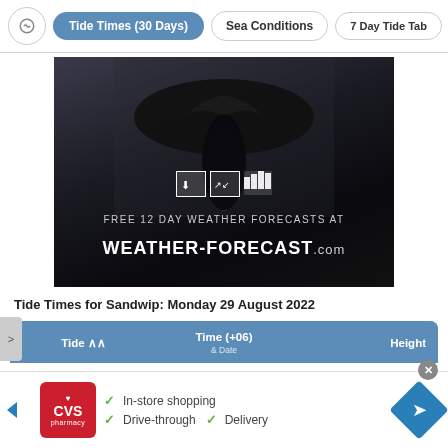Tide Times (30 Days) | Sea Conditions | 7 Day Tide Tab
[Figure (photo): Advertisement banner: dark rainy scene with silhouette of person holding umbrella, weather-forecast.com logo and text 'FREE 12 DAY WEATHER FORECASTS AT WEATHER-FORECAST.com']
Tide Times for Sandwip: Monday 29 August 2022
| Tide | Time (+06) | Height |
| --- | --- | --- |
[Figure (screenshot): CVS Pharmacy advertisement banner: In-store shopping, Drive-through, Delivery checkmarks]